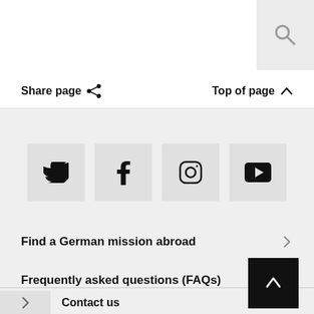[Figure (other): Search magnifying glass icon in a light gray box at top right]
Share page
Top of page
[Figure (other): Social media icons row: Twitter, Facebook, Instagram, YouTube — each in a gray square box]
Find a German mission abroad →
Frequently asked questions (FAQs) →
Contact us